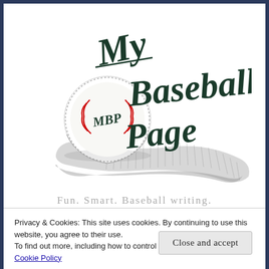[Figure (logo): My Baseball Page logo: dark teal script text reading 'My Baseball Page' with a baseball graphic (showing MBP letters) and a swoosh/tail design beneath]
Fun. Smart. Baseball writing.
Privacy & Cookies: This site uses cookies. By continuing to use this website, you agree to their use.
To find out more, including how to control cookies, see here: Our Cookie Policy
Close and accept